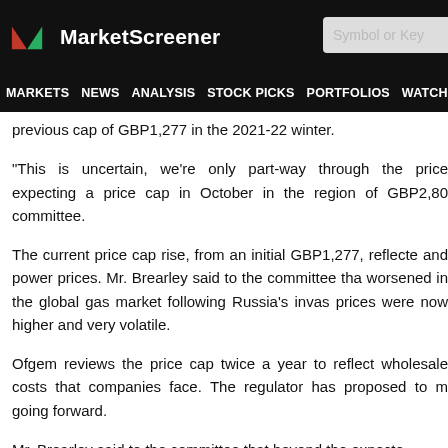MarketScreener | MARKETS | NEWS | ANALYSIS | STOCK PICKS | PORTFOLIOS | WATCHLI...
previous cap of GBP1,277 in the 2021-22 winter.
"This is uncertain, we're only part-way through the price expecting a price cap in October in the region of GBP2,80 committee.
The current price cap rise, from an initial GBP1,277, reflected and power prices. Mr. Brearley said to the committee tha worsened in the global gas market following Russia's invas prices were now higher and very volatile.
Ofgem reviews the price cap twice a year to reflect wholesale costs that companies face. The regulator has proposed to m going forward.
Mr. Brearley said to the committee that beyond the expecte...